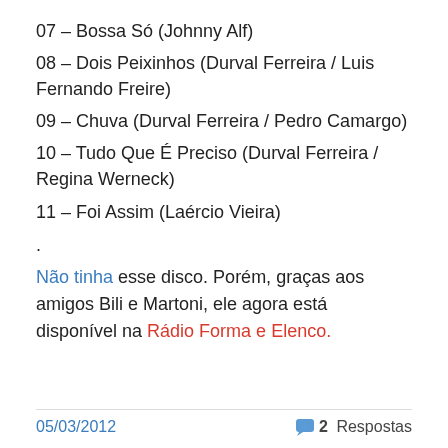07 – Bossa Só (Johnny Alf)
08 – Dois Peixinhos (Durval Ferreira / Luis Fernando Freire)
09 – Chuva (Durval Ferreira / Pedro Camargo)
10 – Tudo Que É Preciso (Durval Ferreira / Regina Werneck)
11 – Foi Assim (Laércio Vieira)
.
Não tinha esse disco. Porém, graças aos amigos Bili e Martoni, ele agora está disponível na Rádio Forma e Elenco.
05/03/2012    💬 2 Respostas